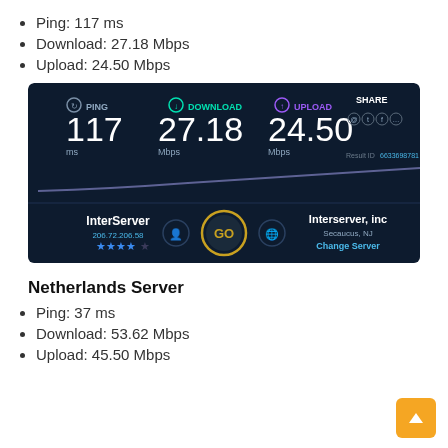Ping: 117 ms
Download: 27.18 Mbps
Upload: 24.50 Mbps
[Figure (screenshot): Speedtest.net result showing PING 117 ms, DOWNLOAD 27.18 Mbps, UPLOAD 24.50 Mbps, with InterServer as server (206.72.206.58, 4 stars), GO button, Interserver inc, Secaucus NJ, Change Server, Result ID 6633698781, and a speed graph line on dark background.]
Netherlands Server
Ping: 37 ms
Download: 53.62 Mbps
Upload: 45.50 Mbps